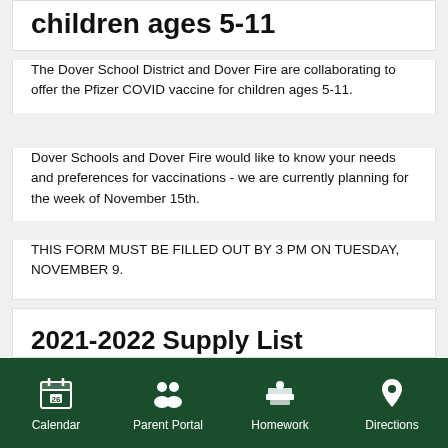children ages 5-11
The Dover School District and Dover Fire are collaborating to offer the Pfizer COVID vaccine for children ages 5-11.
Dover Schools and Dover Fire would like to know your needs and preferences for vaccinations - we are currently planning for the week of November 15th.
THIS FORM MUST BE FILLED OUT BY 3 PM ON TUESDAY, NOVEMBER 9.
2021-2022 Supply List
Calendar  Parent Portal  Homework  Directions